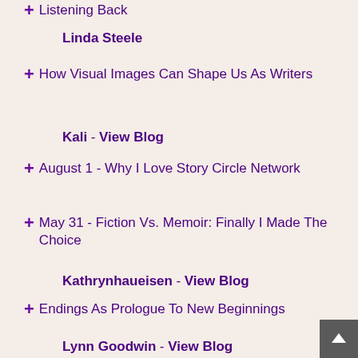+ Listening Back
Linda Steele
+ How Visual Images Can Shape Us As Writers
Kali - View Blog
+ August 1 - Why I Love Story Circle Network
+ May 31 - Fiction Vs. Memoir: Finally I Made The Choice
Kathrynhaueisen - View Blog
+ Endings As Prologue To New Beginnings
Lynn Goodwin - View Blog